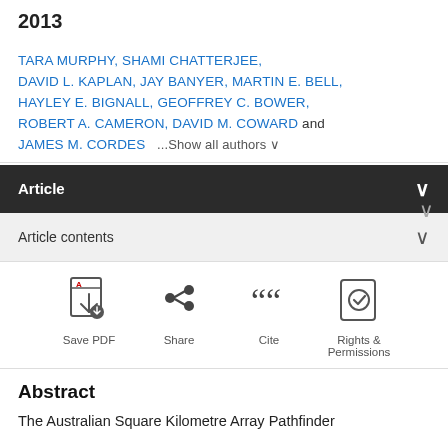2013
TARA MURPHY, SHAMI CHATTERJEE, DAVID L. KAPLAN, JAY BANYER, MARTIN E. BELL, HAYLEY E. BIGNALL, GEOFFREY C. BOWER, ROBERT A. CAMERON, DAVID M. COWARD and JAMES M. CORDES   ...Show all authors ∨
Article
Article contents
[Figure (other): Action icons row: Save PDF, Share, Cite, Rights & Permissions]
Abstract
The Australian Square Kilometre Array Pathfinder